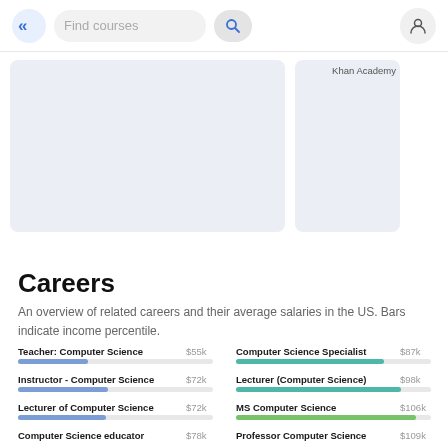Find courses
[Figure (screenshot): Course card placeholder — large light lavender card with a smaller card to the right labeled Khan Academy]
Careers
An overview of related careers and their average salaries in the US. Bars indicate income percentile.
[Figure (bar-chart): Careers — average salaries]